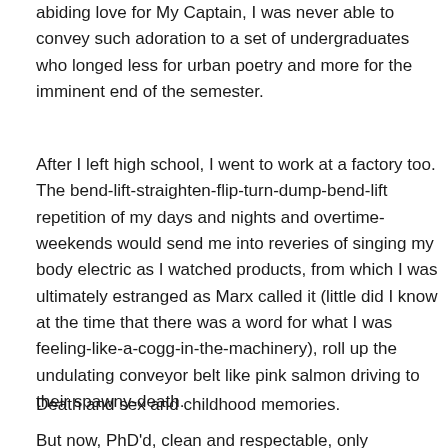abiding love for My Captain, I was never able to convey such adoration to a set of undergraduates who longed less for urban poetry and more for the imminent end of the semester.
After I left high school, I went to work at a factory too. The bend-lift-straighten-flip-turn-dump-bend-lift repetition of my days and nights and overtime-weekends would send me into reveries of singing my body electric as I watched products, from which I was ultimately estranged as Marx called it (little did I know at the time that there was a word for what I was feeling-like-a-cogg-in-the-machinery), roll up the undulating conveyor belt like pink salmon driving to their spawny-death.
Death and sex and childhood memories.
But now, PhD'd, clean and respectable, only occasionally